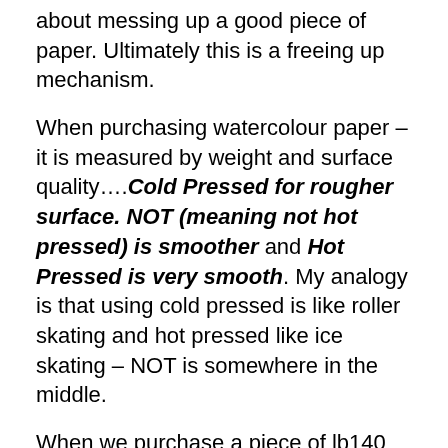about messing up a good piece of paper.  Ultimately this is a freeing up mechanism.
When purchasing watercolour paper – it is measured by weight and surface quality….Cold Pressed for rougher surface.  NOT (meaning not hot pressed) is smoother and Hot Pressed is very smooth.    My analogy is that using cold pressed is like roller skating and hot pressed like ice skating – NOT is somewhere in the middle.
When we purchase a piece of lb140 weight paper – this simply means that the ream of paper (500 sheets) weighs lb140 – and of course the same applies for all weights.  It's a good idea to purchase a sample pack of papers…. and again PLAY.
Another example of where I have used strong colours in the negative space to reveal the image.    After I add